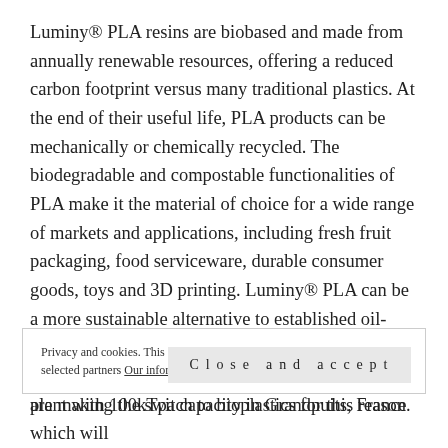Luminy® PLA resins are biobased and made from annually renewable resources, offering a reduced carbon footprint versus many traditional plastics. At the end of their useful life, PLA products can be mechanically or chemically recycled. The biodegradable and compostable functionalities of PLA make it the material of choice for a wide range of markets and applications, including fresh fruit packaging, food serviceware, durable consumer goods, toys and 3D printing. Luminy® PLA can be a more sustainable alternative to established oil-based plastics that might not have as many end-of- life avenues available to them and many producers are making the switch to bioplastics for this reason.
Privacy and cookies. This site uses cookies from wordpress and other selected partners Our information about cookies
Close and accept
plant with 100kTpa capacity in Grandpuits, France which will